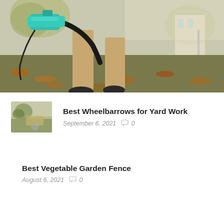[Figure (photo): Person using a teal/turquoise leaf blower on an autumn lawn covered with fallen leaves, viewed from waist down, wearing khaki pants and dark shoes. Blurry background with trees and a building.]
[Figure (photo): Small thumbnail image of an outdoor yard/wheelbarrow scene]
Best Wheelbarrows for Yard Work
September 6, 2021  0
Best Vegetable Garden Fence
August 6, 2021  0